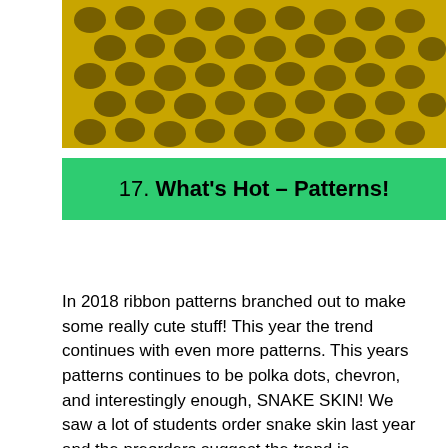[Figure (photo): Close-up photograph of snake skin texture showing golden/yellow scales with dark brown spots arranged in a diamond/hexagonal pattern]
17. What's Hot – Patterns!
In 2018 ribbon patterns branched out to make some really cute stuff! This year the trend continues with even more patterns. This years patterns continues to be polka dots, chevron, and interestingly enough, SNAKE SKIN! We saw a lot of students order snake skin last year and the preorders suggest the trend is continuing. Also note that plaid is interlace will be seeing a lot of